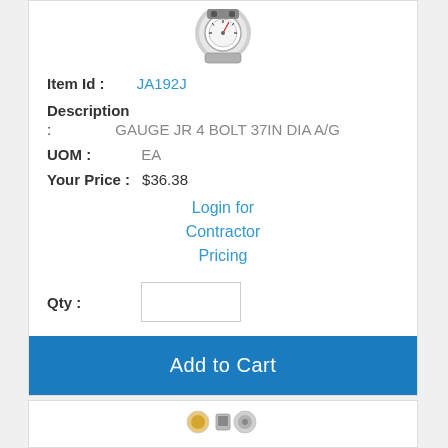[Figure (photo): Product photo of a gauge with 4-bolt mounting, circular face visible from front]
Item Id : JA192J
Description
: GAUGE JR 4 BOLT 37IN DIA A/G
UOM : EA
Your Price : $36.38
Login for Contractor Pricing
Qty :
Add to Cart
[Figure (photo): Small product thumbnail icons at bottom of page]